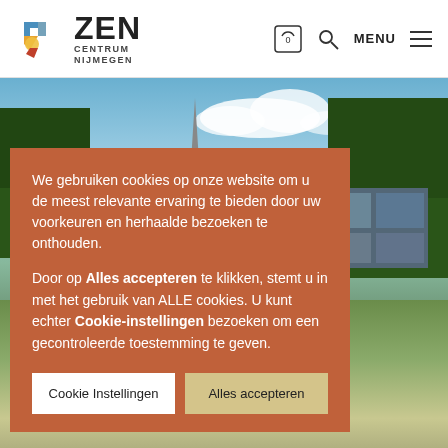[Figure (logo): ZEN Centrum Nijmegen logo with colorful abstract mark and sans-serif text]
[Figure (photo): Exterior photo of a modern building surrounded by trees with blue sky]
We gebruiken cookies op onze website om u de meest relevante ervaring te bieden door uw voorkeuren en herhaalde bezoeken te onthouden.
Door op Alles accepteren te klikken, stemt u in met het gebruik van ALLE cookies. U kunt echter Cookie-instellingen bezoeken om een gecontroleerde toestemming te geven.
Cookie Instellingen
Alles accepteren